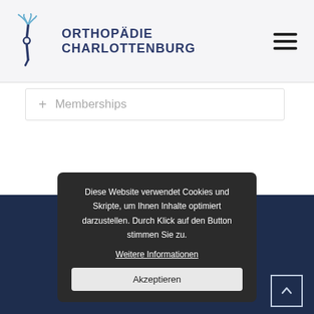[Figure (logo): Orthopädie Charlottenburg logo with stylized blue knee joint and text]
+ Memberships
Diese Website verwendet Cookies und Skripte, um Ihnen Inhalte optimiert darzustellen. Durch Klick auf den Button stimmen Sie zu.
Weitere Informationen
Akzeptieren
© 2022 Orthopädie Charlottenburg, powered by neudenken & KLE…
Hausarztpraxis von Dr. med. Ines Göbel